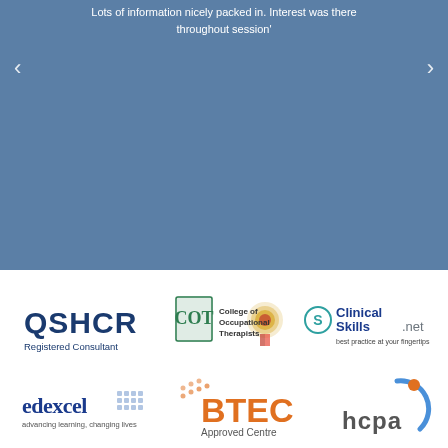Lots of information nicely packed in. Interest was there throughout session'
[Figure (logo): QSHCR Registered Consultant logo]
[Figure (logo): College of Occupational Therapists logo with award badge]
[Figure (logo): ClinicalSkills.net logo - best practice at your fingertips]
[Figure (logo): Edexcel - advancing learning, changing lives logo]
[Figure (logo): BTEC Approved Centre logo]
[Figure (logo): HCPA logo]